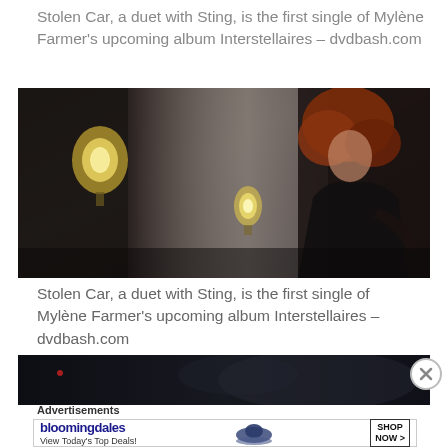Stolen Car, a duet with Sting, is the first single of Mylène Farmer's upcoming album Interstellaires – dvdbash.com
[Figure (photo): A woman with red hair, wearing a black garment, standing in a dimly lit room with curtains and a small glowing light/lamp visible in the background. The scene is dark and moody.]
Stolen Car, a duet with Sting, is the first single of Mylène Farmer's upcoming album Interstellaires – dvdbash.com
[Figure (photo): A dark, nearly black image showing silhouettes of people in a dim setting — the bottom portion of another photo or video frame.]
Advertisements
[Figure (other): Bloomingdale's advertisement banner: 'bloomingdales – View Today's Top Deals! SHOP NOW >' with an image of a woman in a large blue hat.]